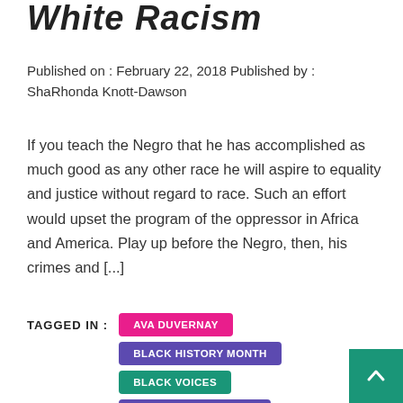White Racism
Published on : February 22, 2018 Published by : ShaRhonda Knott-Dawson
If you teach the Negro that he has accomplished as much good as any other race he will aspire to equality and justice without regard to race. Such an effort would upset the program of the oppressor in Africa and America. Play up before the Negro, then, his crimes and [...]
TAGGED IN : AVA DUVERNAY  BLACK HISTORY MONTH  BLACK VOICES  CARTER G. WOODSON  CHICAGO  CROSSFIT  DIVERSITY